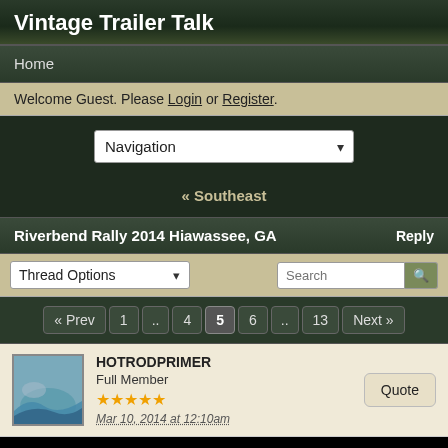Vintage Trailer Talk
Home
Welcome Guest. Please Login or Register.
Navigation
« Southeast
Riverbend Rally 2014 Hiawassee, GA
Thread Options  Search
« Prev  1  ..  4  5  6  ..  13  Next »
HOTRODPRIMER
Full Member
★★★★★
Mar 10, 2014 at 12:10am